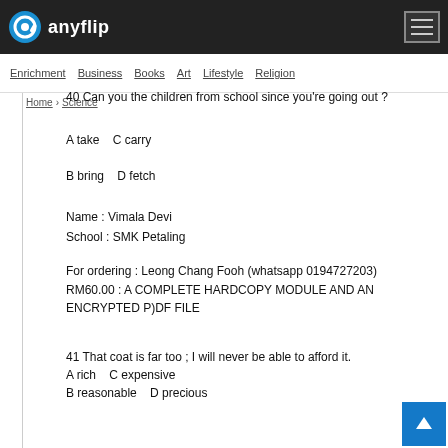anyflip
Enrichment  Business  Books  Art  Lifestyle  Religion
Home > Science
40 Can you the children from school since you’re going out ?
A take   C carry
B bring   D fetch
Name : Vimala Devi
School : SMK Petaling
For ordering : Leong Chang Fooh (whatsapp 0194727203)
RM60.00 : A COMPLETE HARDCOPY MODULE AND AN ENCRYPTED P)DF FILE
41 That coat is far too ; I will never be able to afford it.
A rich   C expensive
B reasonable   D precious